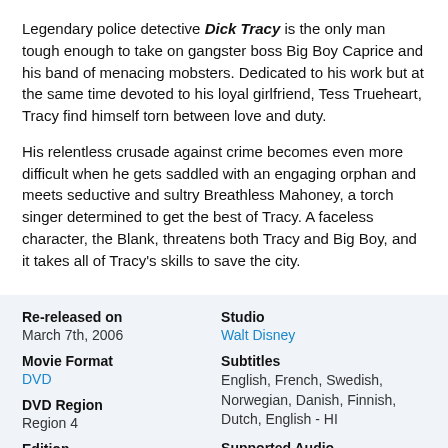Legendary police detective Dick Tracy is the only man tough enough to take on gangster boss Big Boy Caprice and his band of menacing mobsters. Dedicated to his work but at the same time devoted to his loyal girlfriend, Tess Trueheart, Tracy find himself torn between love and duty.
His relentless crusade against crime becomes even more difficult when he gets saddled with an engaging orphan and meets seductive and sultry Breathless Mahoney, a torch singer determined to get the best of Tracy. A faceless character, the Blank, threatens both Tracy and Big Boy, and it takes all of Tracy's skills to save the city.
| Field | Value |
| --- | --- |
| Re-released on | March 7th, 2006 |
| Movie Format | DVD |
| DVD Region | Region 4 |
| Edition | Standard Edition |
| Aspect Ratio |  |
| Studio | Walt Disney |
| Subtitles | English, French, Swedish, Norwegian, Danish, Finnish, Dutch, English - HI |
| Supported Audio | Dolby Digital Surround 5.1 |
| Genres |  |